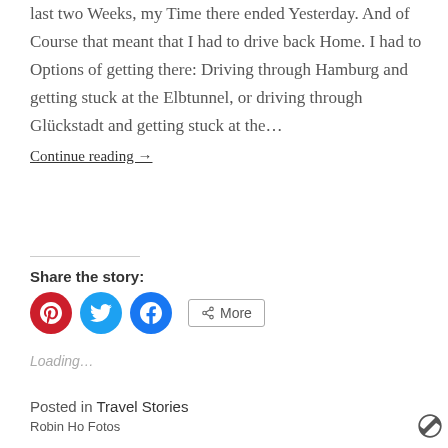last two Weeks, my Time there ended Yesterday. And of Course that meant that I had to drive back Home. I had to Options of getting there: Driving through Hamburg and getting stuck at the Elbtunnel, or driving through Glückstadt and getting stuck at the…
Continue reading →
Share the story:
[Figure (infographic): Social sharing buttons: Pinterest (red circle), Twitter (blue circle), Facebook (blue circle), and a More button with share icon]
Loading…
Posted in Travel Stories
Robin Ho Fotos